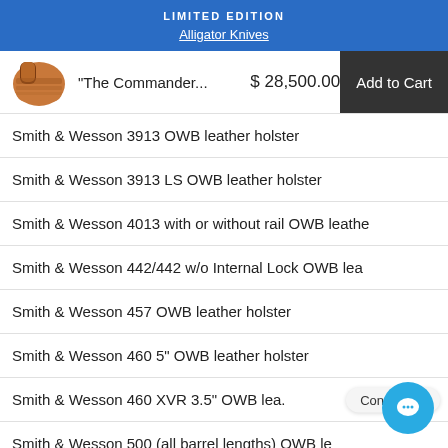LIMITED EDITION
Alligator Knives
"The Commander...   $ 28,500.00   Add to Cart
Smith & Wesson 3913 OWB leather holster
Smith & Wesson 3913 LS OWB leather holster
Smith & Wesson 4013 with or without rail OWB leathe
Smith & Wesson 442/442 w/o Internal Lock OWB lea
Smith & Wesson 457 OWB leather holster
Smith & Wesson 460 5" OWB leather holster
Smith & Wesson 460 XVR 3.5" OWB lea.
Smith & Wesson 500 (all barrel lengths) OWB le
Smith & Wesson 581 OWB leather holster
Smith & Wesson 586 OWB leather holste